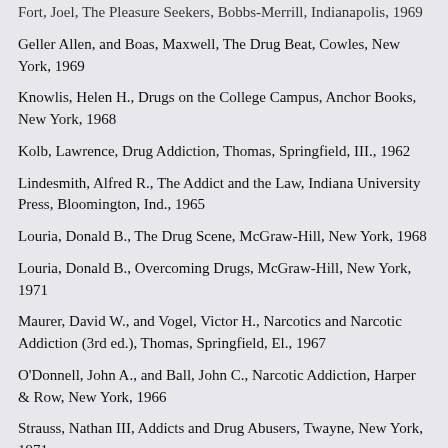Fort, Joel, The Pleasure Seekers, Bobbs-Merrill, Indianapolis, 1969
Geller Allen, and Boas, Maxwell, The Drug Beat, Cowles, New York, 1969
Knowlis, Helen H., Drugs on the College Campus, Anchor Books, New York, 1968
Kolb, Lawrence, Drug Addiction, Thomas, Springfield, Ill., 1962
Lindesmith, Alfred R., The Addict and the Law, Indiana University Press, Bloomington, Ind., 1965
Louria, Donald B., The Drug Scene, McGraw-Hill, New York, 1968
Louria, Donald B., Overcoming Drugs, McGraw-Hill, New York, 1971
Maurer, David W., and Vogel, Victor H., Narcotics and Narcotic Addiction (3rd ed.), Thomas, Springfield, El., 1967
O'Donnell, John A., and Ball, John C., Narcotic Addiction, Harper & Row, New York, 1966
Strauss, Nathan III, Addicts and Drug Abusers, Twayne, New York, 1971